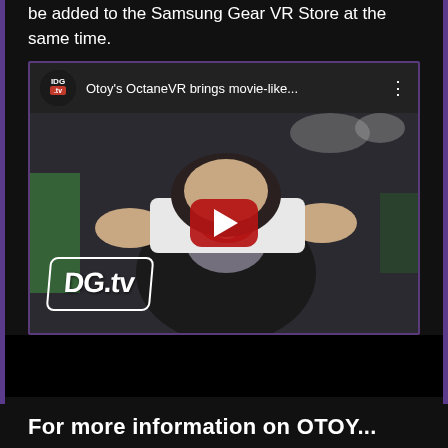be added to the Samsung Gear VR Store at the same time.
[Figure (screenshot): YouTube video thumbnail showing a man holding a Samsung Gear VR headset up to his face. The video title reads 'Otoy's OctaneVR brings movie-like...' with IDG.tv logo in the top bar. A red YouTube play button is overlaid in the center. DG.tv watermark is in the bottom-left corner. The video player bar shows the IDG.tv channel icon, video title, and three-dot menu.]
For more information on OTOY...